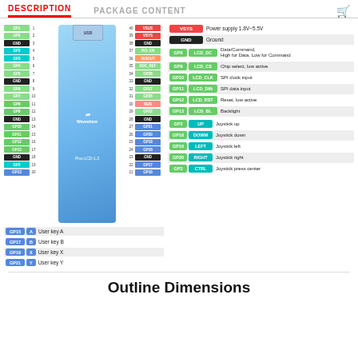DESCRIPTION | PACKAGE CONTENT
[Figure (schematic): Raspberry Pi Pico LCD-1.3 pinout diagram showing left and right pin labels with colors indicating pin types (GND, GPIO, power). Left side pins GP1-GP13, right side pins GP16-VSYS with numbers 1-40.]
| GP | Name | Description |
| --- | --- | --- |
| VSYS |  | Power supply 1.8V~5.5V |
| GND |  | Ground |
| GP8 | LCD_DC | Data/Command, High for Data, Low for Command |
| GP9 | LCD_CS | Chip select, low active |
| GP10 | LCD_CLK | SPI clock input |
| GP11 | LCD_DIN | SPI data input |
| GP12 | LCD_RST | Reset, low active |
| GP13 | LCD_BL | Backlight |
| GP | Name | Description |
| --- | --- | --- |
| GP15 | A | User key A |
| GP17 | B | User key B |
| GP19 | X | User key X |
| GP21 | Y | User key Y |
| GP2 | UP | Joystick up |
| GP18 | DOWM | Joystick down |
| GP16 | LEFT | Joystick left |
| GP20 | RIGHT | Joystick right |
| GP3 | CTRL | Joystick press center |
Outline Dimensions